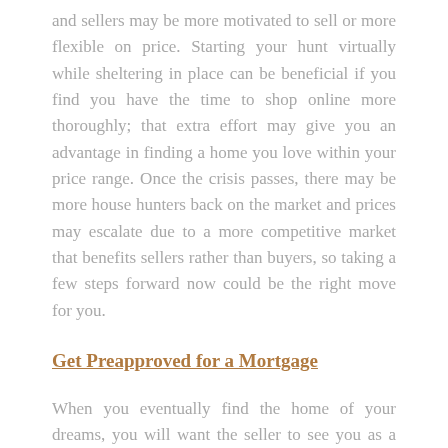and sellers may be more motivated to sell or more flexible on price. Starting your hunt virtually while sheltering in place can be beneficial if you find you have the time to shop online more thoroughly; that extra effort may give you an advantage in finding a home you love within your price range. Once the crisis passes, there may be more house hunters back on the market and prices may escalate due to a more competitive market that benefits sellers rather than buyers, so taking a few steps forward now could be the right move for you.
Get Preapproved for a Mortgage
When you eventually find the home of your dreams, you will want the seller to see you as a serious buyer. To do that, get a mortgage preanproval before you begin house hunting. It